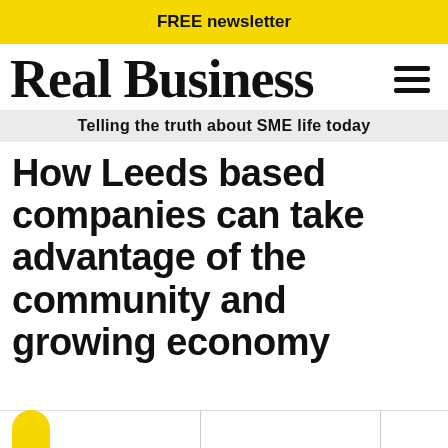FREE newsletter
[Figure (logo): Real Business logo in bold serif font with hamburger menu icon]
Telling the truth about SME life today
How Leeds based companies can take advantage of the community and growing economy